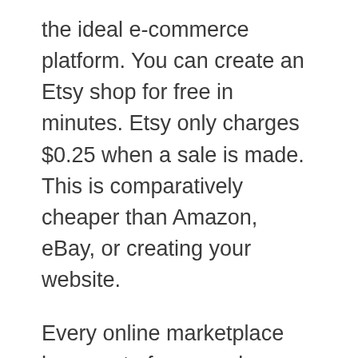the ideal e-commerce platform. You can create an Etsy shop for free in minutes. Etsy only charges $0.25 when a sale is made. This is comparatively cheaper than Amazon, eBay, or creating your website.
Every online marketplace has a set of pros and cons. The benefit is that you gain access to their network of customers-people visit these sites frequently when they need to buy something, so opening up a shop allows you to meet them there. However, the competition is tough.